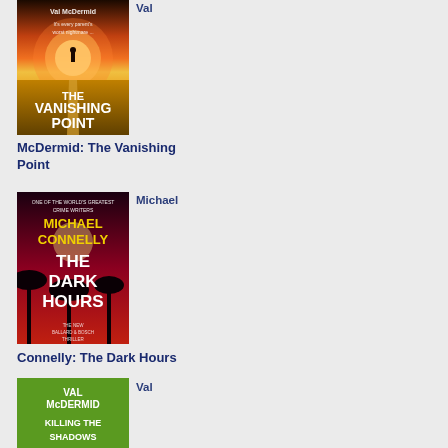[Figure (photo): Book cover of 'The Vanishing Point' by Val McDermid — sunset over a field with a path, person silhouette in distance. Text: 'Val McDermid', 'It's every parent's worst nightmare...', 'The Vanishing Point']
Val
McDermid: The Vanishing Point
[Figure (photo): Book cover of 'The Dark Hours' by Michael Connelly — dark red background with palm trees silhouetted, yellow and white text. Text: 'One of the world's greatest crime writers', 'Michael Connelly', 'The Dark Hours', 'The New Ballard & Bosch Thriller']
Michael
Connelly: The Dark Hours
[Figure (photo): Book cover of 'Killing the Shadows' by Val McDermid — green background with white text. Text: 'Val McDermid', 'Killing the Shadows']
Val